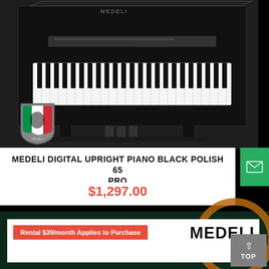[Figure (photo): Medeli digital upright piano in black polish finish, viewed from above at an angle showing keyboard and body, with Italian shield/logo overlay in lower left]
MEDELI DIGITAL UPRIGHT PIANO BLACK POLISH 65 PRO
$1,297.00
Rental $39/month Applies to Purchase
[Figure (logo): MEDELI brand logo in bold black text]